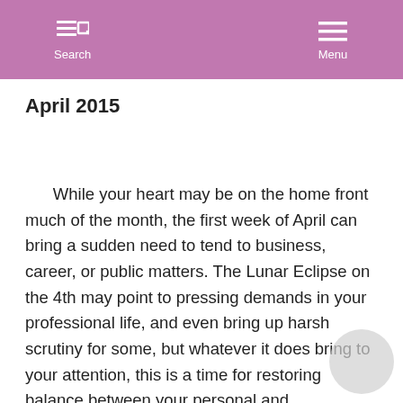Search   Menu
April 2015
While your heart may be on the home front much of the month, the first week of April can bring a sudden need to tend to business, career, or public matters. The Lunar Eclipse on the 4th may point to pressing demands in your professional life, and even bring up harsh scrutiny for some, but whatever it does bring to your attention, this is a time for restoring balance between your personal and professional lives. From the 11th, Venus is supporting you, enhancing your natural charm, while Mars is in harmony with your sign